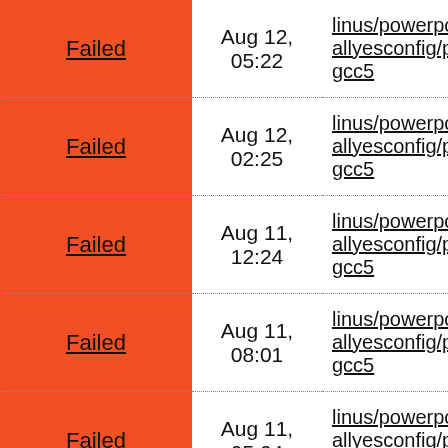| Status | Date | Link |
| --- | --- | --- |
| Failed | Aug 12, 05:22 | linus/powerpc-allyesconfig/powerpc-gcc5 |
| Failed | Aug 12, 02:25 | linus/powerpc-allyesconfig/powerpc-gcc5 |
| Failed | Aug 11, 12:24 | linus/powerpc-allyesconfig/powerpc-gcc5 |
| Failed | Aug 11, 08:01 | linus/powerpc-allyesconfig/powerpc-gcc5 |
| Failed | Aug 11, 05:04 | linus/powerpc-allyesconfig/powerpc-gcc5 |
| Failed | Aug 10, 15:25 | linus/powerpc-allyesconfig/powerpc-gcc5 |
| Failed | Aug 10, | linus/powerpc-allyesconfig/powe... |